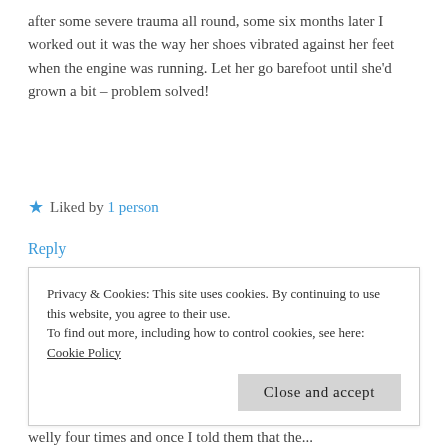after some severe trauma all round, some six months later I worked out it was the way her shoes vibrated against her feet when the engine was running. Let her go barefoot until she'd grown a bit – problem solved!
★ Liked by 1 person
Reply
Nathanielle Sean Crawford
MAY 31, 2017 AT 9:58 PM
Privacy & Cookies: This site uses cookies. By continuing to use this website, you agree to their use.
To find out more, including how to control cookies, see here: Cookie Policy
Close and accept
welly four times and once I told them that the...